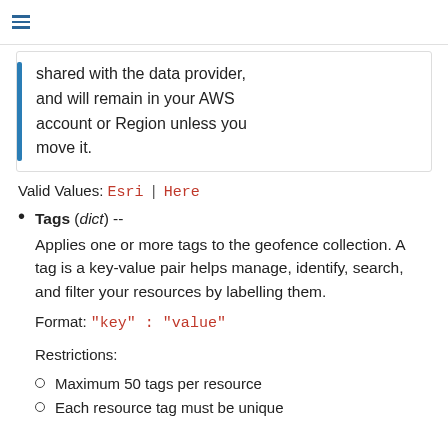shared with the data provider, and will remain in your AWS account or Region unless you move it.
Valid Values: Esri | Here
Tags (dict) -- Applies one or more tags to the geofence collection. A tag is a key-value pair helps manage, identify, search, and filter your resources by labelling them.
Format: "key" : "value"
Restrictions:
Maximum 50 tags per resource
Each resource tag must be unique